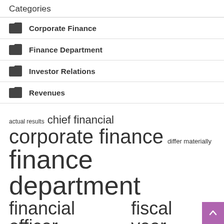Categories
Corporate Finance
Finance Department
Investor Relations
Revenues
actual results  chief financial  corporate finance  differ materially  finance department  financial officer  fiscal year  investor relations  long term